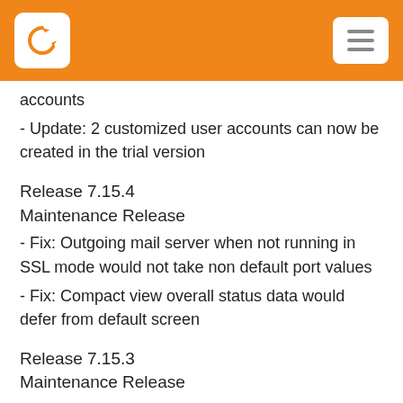accounts
- Update: 2 customized user accounts can now be created in the trial version
Release 7.15.4
Maintenance Release
- Fix: Outgoing mail server when not running in SSL mode would not take non default port values
- Fix: Compact view overall status data would defer from default screen
Release 7.15.3
Maintenance Release
- Fix: Compact View error in stats for monitors having a DOWN? status
- Fix: Downtime report did calculate the % based on incorrect timing (total downtime remains valid)